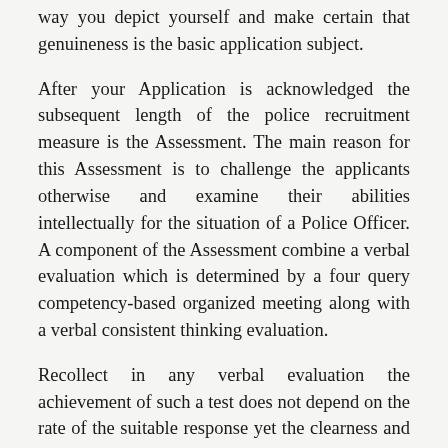way you depict yourself and make certain that genuineness is the basic application subject.
After your Application is acknowledged the subsequent length of the police recruitment measure is the Assessment. The main reason for this Assessment is to challenge the applicants otherwise and examine their abilities intellectually for the situation of a Police Officer. A component of the Assessment combine a verbal evaluation which is determined by a four query competency-based organized meeting along with a verbal consistent thinking evaluation.
Recollect in any verbal evaluation the achievement of such a test does not depend on the rate of the suitable response yet the clearness and all around thought response about the suitable reaction. Composing practices are the important requirement of any placement test and the Police Recruitment